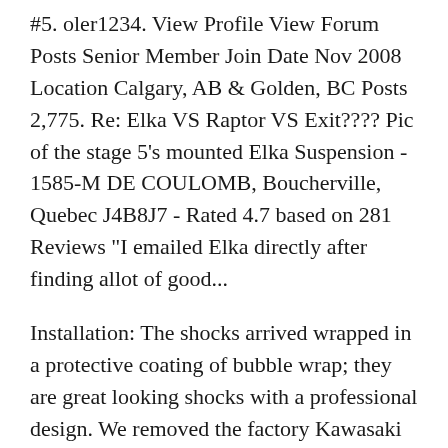#5. oler1234. View Profile View Forum Posts Senior Member Join Date Nov 2008 Location Calgary, AB & Golden, BC Posts 2,775. Re: Elka VS Raptor VS Exit???? Pic of the stage 5's mounted Elka Suspension - 1585-M DE COULOMB, Boucherville, Quebec J4B8J7 - Rated 4.7 based on 281 Reviews "I emailed Elka directly after finding allot of good...
Installation: The shocks arrived wrapped in a protective coating of bubble wrap; they are great looking shocks with a professional design. We removed the factory Kawasaki shocks and installed the Elka's without any problems, because the front shocks are piggyback style they did not require us to search out a location